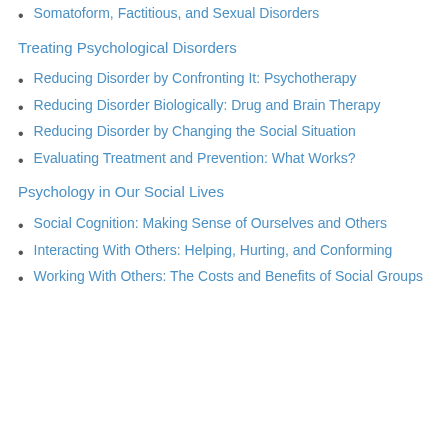Somatoform, Factitious, and Sexual Disorders
Treating Psychological Disorders
Reducing Disorder by Confronting It: Psychotherapy
Reducing Disorder Biologically: Drug and Brain Therapy
Reducing Disorder by Changing the Social Situation
Evaluating Treatment and Prevention: What Works?
Psychology in Our Social Lives
Social Cognition: Making Sense of Ourselves and Others
Interacting With Others: Helping, Hurting, and Conforming
Working With Others: The Costs and Benefits of Social Groups